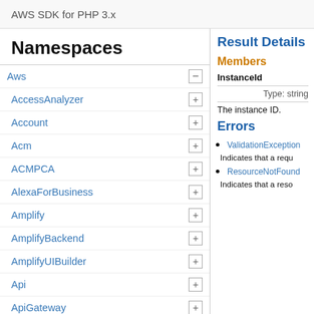AWS SDK for PHP 3.x
Namespaces
Aws
AccessAnalyzer
Account
Acm
ACMPCA
AlexaForBusiness
Amplify
AmplifyBackend
AmplifyUIBuilder
Api
ApiGateway
ApiGatewayManagementApi
Result Details
Members
InstanceId
Type: string
The instance ID.
Errors
ValidationException
Indicates that a requ
ResourceNotFound
Indicates that a reso